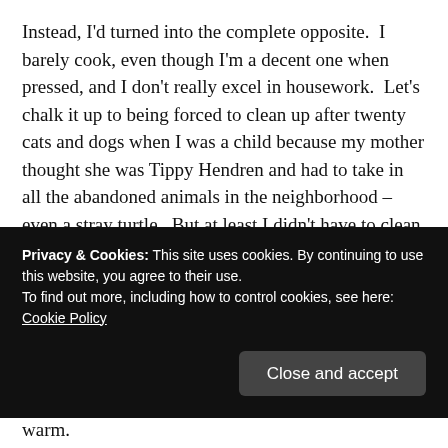Instead, I'd turned into the complete opposite.  I barely cook, even though I'm a decent one when pressed, and I don't really excel in housework.  Let's chalk it up to being forced to clean up after twenty cats and dogs when I was a child because my mother thought she was Tippy Hendren and had to take in all the abandoned animals in the neighborhood – even a stray turtle.  But at least I didn't have to clean up after the turtle so I have nothing against him.  But then anyone can argue that I'm just using that as an excuse.
Privacy & Cookies: This site uses cookies. By continuing to use this website, you agree to their use.
To find out more, including how to control cookies, see here:
Cookie Policy
there and drape it onto its hanger while it's still warm.